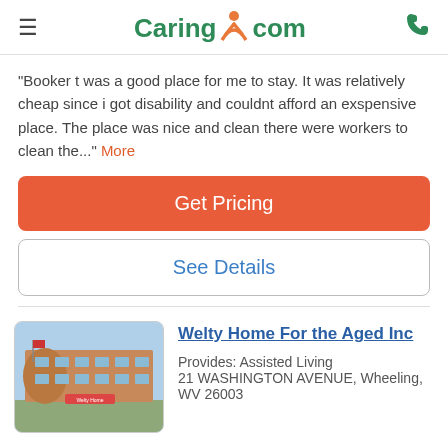Caring.com
"Booker t was a good place for me to stay. It was relatively cheap since i got disability and couldnt afford an exspensive place. The place was nice and clean there were workers to clean the..." More
Get Pricing
See Details
Welty Home For the Aged Inc
Provides: Assisted Living
21 WASHINGTON AVENUE, Wheeling, WV 26003
[Figure (photo): Exterior photo of Welty Home For the Aged Inc building, a multi-story brick structure with a curved facade and a sign in front, under a blue sky.]